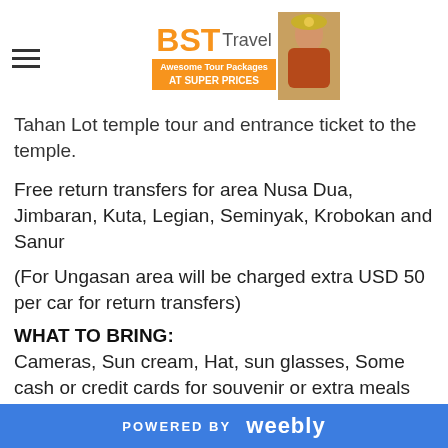BST Travel — Awesome Tour Packages AT SUPER PRICES
Tahan Lot temple tour and entrance ticket to the temple.
Free return transfers for area Nusa Dua, Jimbaran, Kuta, Legian, Seminyak, Krobokan and Sanur
(For Ungasan area will be charged extra USD 50 per car for return transfers)
WHAT TO BRING:
Cameras, Sun cream, Hat, sun glasses, Some cash or credit cards for souvenir or extra meals and drinks.
NOTES:
- Departs everyday based on weather condition.
POWERED BY weebly